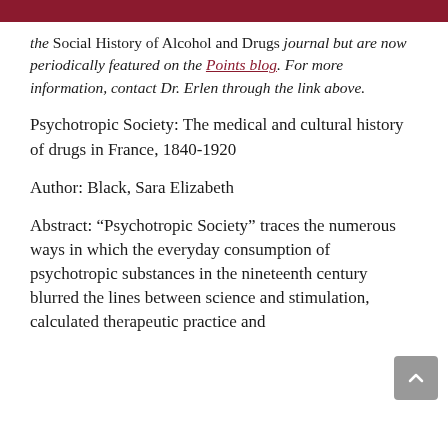the Social History of Alcohol and Drugs journal but are now periodically featured on the Points blog. For more information, contact Dr. Erlen through the link above.
Psychotropic Society: The medical and cultural history of drugs in France, 1840-1920
Author: Black, Sara Elizabeth
Abstract: “Psychotropic Society” traces the numerous ways in which the everyday consumption of psychotropic substances in the nineteenth century blurred the lines between science and stimulation, calculated therapeutic practice and